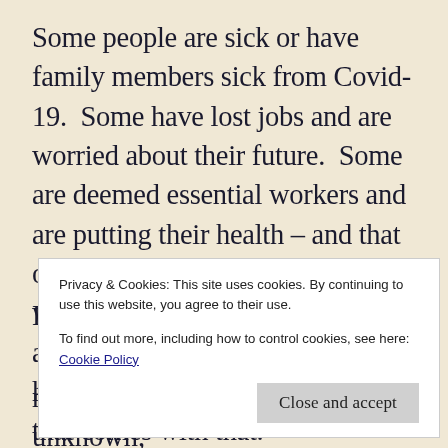Some people are sick or have family members sick from Covid-19.  Some have lost jobs and are worried about their future.  Some are deemed essential workers and are putting their health – and that of their families – at risk every day while they serve others. And nearly all of us have been isolating at home and dealing with the stress that comes with that.
Privacy & Cookies: This site uses cookies. By continuing to use this website, you agree to their use.
To find out more, including how to control cookies, see here: Cookie Policy
memories.  Life post-Covid-19 is unknown, which can be stressful and anxiety-producing